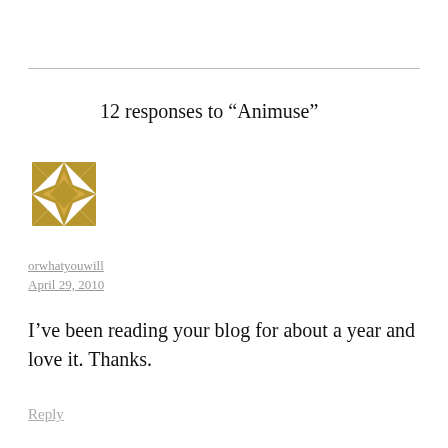12 responses to “Animuse”
[Figure (illustration): Golden decorative geometric snowflake/quilt pattern avatar icon]
orwhatyouwill
April 29, 2010
I’ve been reading your blog for about a year and love it. Thanks.
Reply